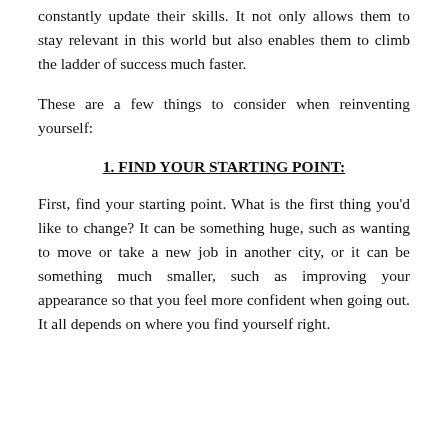constantly update their skills. It not only allows them to stay relevant in this world but also enables them to climb the ladder of success much faster.
These are a few things to consider when reinventing yourself:
1. FIND YOUR STARTING POINT:
First, find your starting point. What is the first thing you’d like to change? It can be something huge, such as wanting to move or take a new job in another city, or it can be something much smaller, such as improving your appearance so that you feel more confident when going out. It all depends on where you find yourself right.